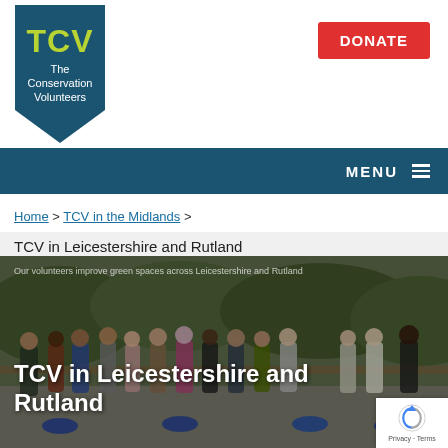[Figure (logo): TCV - The Conservation Volunteers shield/pin logo in dark teal with yellow-green TCV text]
DONATE
MENU
Home > TCV in the Midlands >
TCV in Leicestershire and Rutland
[Figure (photo): Group photo of volunteers with wheelbarrows outdoors. Text overlay reads: TCV in Leicestershire and Rutland]
Privacy · Terms